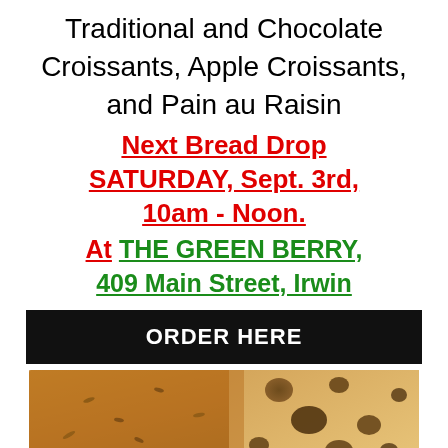Traditional and Chocolate Croissants, Apple Croissants, and Pain au Raisin
Next Bread Drop SATURDAY, Sept. 3rd, 10am - Noon.
At THE GREEN BERRY, 409 Main Street, Irwin
ORDER HERE
[Figure (photo): Close-up photo of artisan bread/croissants showing golden crust and airy interior crumb structure]